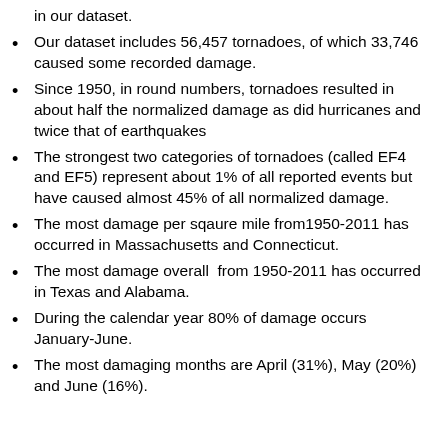in our dataset.
Our dataset includes 56,457 tornadoes, of which 33,746 caused some recorded damage.
Since 1950, in round numbers, tornadoes resulted in about half the normalized damage as did hurricanes and twice that of earthquakes
The strongest two categories of tornadoes (called EF4 and EF5) represent about 1% of all reported events but have caused almost 45% of all normalized damage.
The most damage per sqaure mile from1950-2011 has occurred in Massachusetts and Connecticut.
The most damage overall  from 1950-2011 has occurred in Texas and Alabama.
During the calendar year 80% of damage occurs January-June.
The most damaging months are April (31%), May (20%) and June (16%).